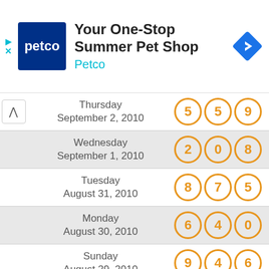[Figure (screenshot): Petco advertisement banner: Your One-Stop Summer Pet Shop]
| Date | Numbers |
| --- | --- |
| Thursday September 2, 2010 | 5 5 9 |
| Wednesday September 1, 2010 | 2 0 8 |
| Tuesday August 31, 2010 | 8 7 5 |
| Monday August 30, 2010 | 6 4 0 |
| Sunday August 29, 2010 | 9 4 6 |
| Saturday August 28, 2010 | 4 2 4 |